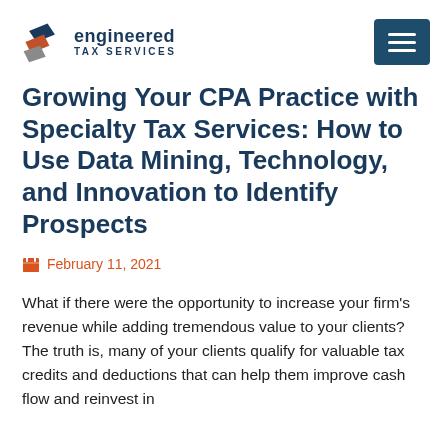[Figure (logo): Engineered Tax Services logo with icon of layered geometric shapes in navy blue, orange, and gray, followed by text 'engineered TAX SERVICES']
Growing Your CPA Practice with Specialty Tax Services: How to Use Data Mining, Technology, and Innovation to Identify Prospects
February 11, 2021
What if there were the opportunity to increase your firm's revenue while adding tremendous value to your clients? The truth is, many of your clients qualify for valuable tax credits and deductions that can help them improve cash flow and reinvest in